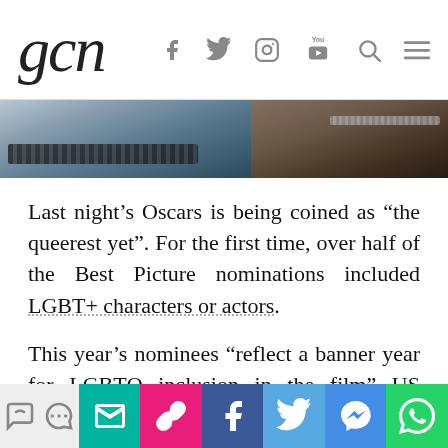gcn — navigation bar with social icons (Facebook, Twitter, Instagram, YouTube, Search, Menu)
[Figure (photo): Cropped photo strip showing two people at an event; left side shows a person wearing a studded belt, right side shows a person wearing a chain necklace/top]
Last night’s Oscars is being coined as “the queerest yet”. For the first time, over half of the Best Picture nominations included LGBT+ characters or actors.
This year’s nominees “reflect a banner year for LGBTQ inclusion in the film” US LGBT+ organization GLAAD said.
Share bar with icons: archive, comment, email, link, Facebook, Twitter, Messenger, WhatsApp